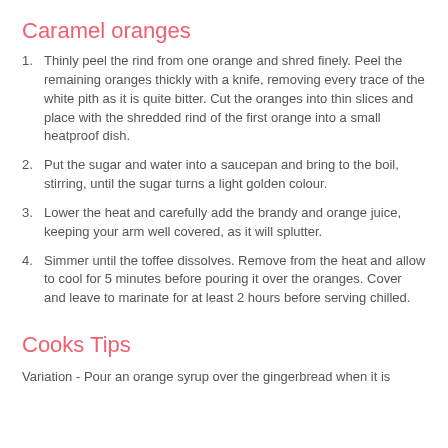Caramel oranges
Thinly peel the rind from one orange and shred finely. Peel the remaining oranges thickly with a knife, removing every trace of the white pith as it is quite bitter. Cut the oranges into thin slices and place with the shredded rind of the first orange into a small heatproof dish.
Put the sugar and water into a saucepan and bring to the boil, stirring, until the sugar turns a light golden colour.
Lower the heat and carefully add the brandy and orange juice, keeping your arm well covered, as it will splutter.
Simmer until the toffee dissolves. Remove from the heat and allow to cool for 5 minutes before pouring it over the oranges. Cover and leave to marinate for at least 2 hours before serving chilled.
Cooks Tips
Variation - Pour an orange syrup over the gingerbread when it is